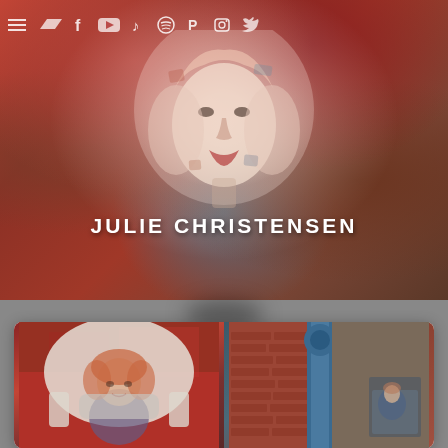[Figure (illustration): Hero section with artistic/painterly portrait of a woman (Julie Christensen) against a red/orange mosaic-style background, with navigation icons across the top]
JULIE CHRISTENSEN
[Figure (photo): Card section showing two photographs: left photo of a woman with curly red hair seated in a large chair against a red wall, right photo of industrial blue pipes and brick wall with a small inset photo of a woman in a blue outfit seated in a chair]